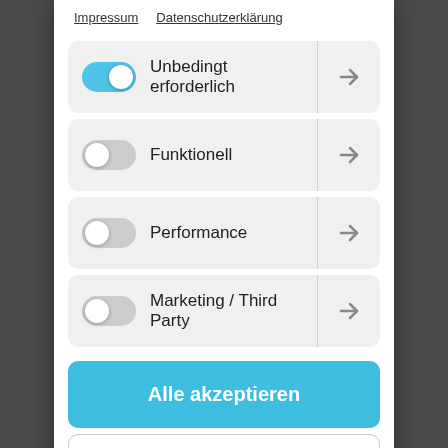Impressum  Datenschutzerklärung
Unbedingt erforderlich
Funktionell
Performance
Marketing / Third Party
Alle akzeptieren
Nur Auswahl akzeptieren
Alle ablehnen